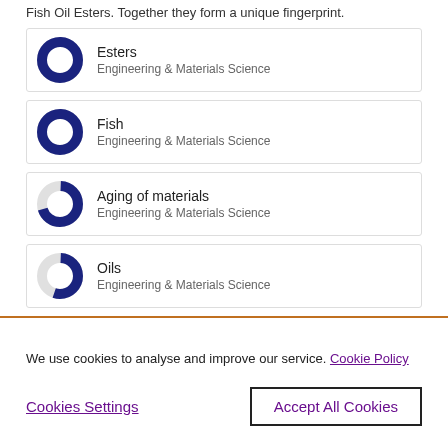Fish Oil Esters. Together they form a unique fingerprint.
Esters — Engineering & Materials Science (100%)
Fish — Engineering & Materials Science (100%)
Aging of materials — Engineering & Materials Science (~70%)
Oils — Engineering & Materials Science (~55%)
We use cookies to analyse and improve our service. Cookie Policy
Cookies Settings | Accept All Cookies